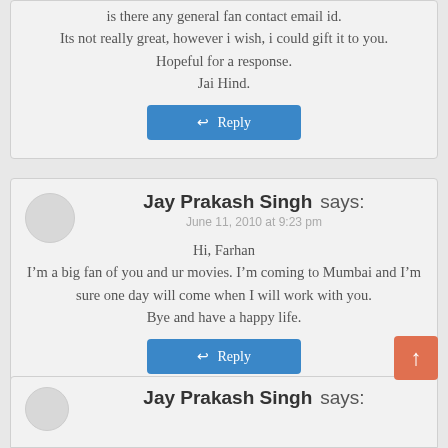is there any general fan contact email id.
Its not really great, however i wish, i could gift it to you.
Hopeful for a response.
Jai Hind.
Reply
Jay Prakash Singh says:
June 11, 2010 at 9:23 pm
Hi, Farhan
I'm a big fan of you and ur movies. I'm coming to Mumbai and I'm sure one day will come when I will work with you.
Bye and have a happy life.
Reply
Jay Prakash Singh says: